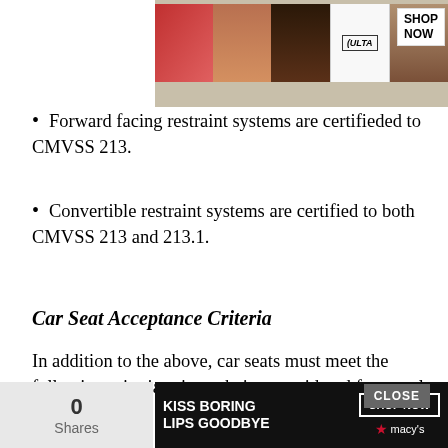[Figure (photo): Ulta Beauty advertisement banner at top showing beauty/makeup imagery with ULTA logo and SHOP NOW button]
Forward facing restraint systems are certified to CMVSS 213.
Convertible restraint systems are certified to both CMVSS 213 and 213.1.
Car Seat Acceptance Criteria
In addition to the above, car seats must meet the following criteria prior to being considered for travel:
Be designed so they can be secured with a fastened lap belt only
Not exceed a width of 40.6cm (16 inches)
Be designed to restrain the weight of [CLOSE button overlay] d
[Figure (photo): Macy's advertisement banner at bottom with KISS BORING LIPS GOODBYE text and SHOP NOW button]
0 Shares